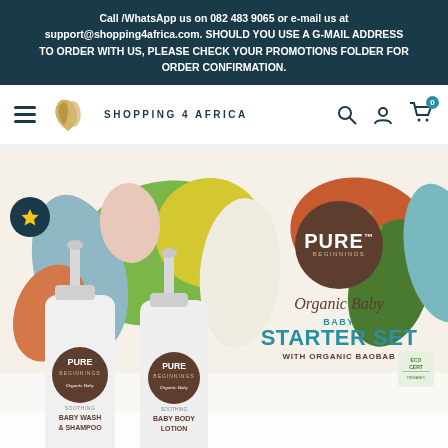Call /WhatsApp us on 082 483 9065 or e-mail us at support@shopping4africa.com. SHOULD YOU USE A G-MAIL ADDRESS TO ORDER WITH US, PLEASE CHECK YOUR PROMOTIONS FOLDER FOR ORDER CONFIRMATION.
[Figure (logo): Shopping 4 Africa navigation bar with hamburger menu, logo with stylized African continent icon, text SHOPPING 4 AFRICA, search icon, user icon, and cart icon with badge 0]
[Figure (photo): Pure Beginnings Organic Baby Starter Set with Organic Baobab product page hero image showing two white pump bottles (Baby Wash & Shampoo and Baby Body Lotion) on colorful abstract African-inspired background, with Pure Beginnings brown circular logo, Organic Baby script text, and teal Baby Starter Set With Organic Baobab text. Ecocert badge visible bottom right.]